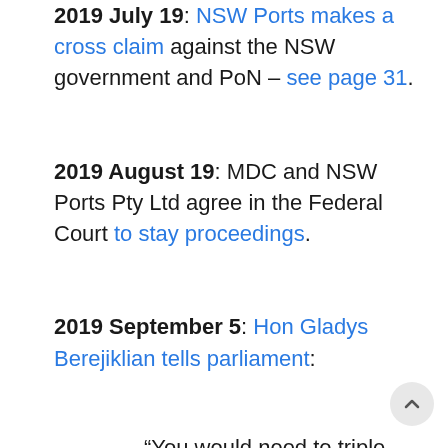2019 July 19: NSW Ports makes a cross claim against the NSW government and PoN – see page 31.
2019 August 19: MDC and NSW Ports Pty Ltd agree in the Federal Court to stay proceedings.
2019 September 5: Hon Gladys Berejiklian tells parliament:
“You would need to triple container movements at the Port of Newcastle before